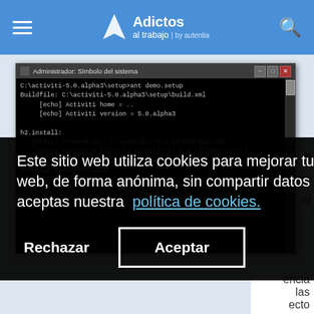Adictos al trabajo | by autentia
[Figure (screenshot): Windows command prompt (Administrador: Símbolo del sistema) showing Ant build output for activiti-5.0.alpha3 setup, including echo statements, mkdir and copy operations, and internal.classpath.libs output]
Este sitio web utiliza cookies para mejorar tu experiencia y analizar nuestro tráfico web, de forma anónima, sin compartir datos con terceros. Al utilizar Adictos al trabajo, aceptas nuestra política de cookies.
Rechazar
Aceptar